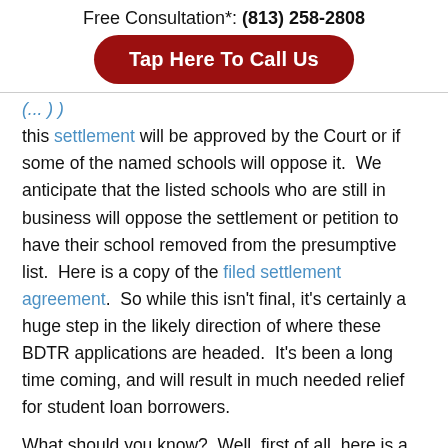Free Consultation*: (813) 258-2808
Tap Here To Call Us
(...) this settlement will be approved by the Court or if some of the named schools will oppose it.  We anticipate that the listed schools who are still in business will oppose the settlement or petition to have their school removed from the presumptive list.  Here is a copy of the filed settlement agreement.  So while this isn't final, it's certainly a huge step in the likely direction of where these BDTR applications are headed.  It's been a long time coming, and will result in much needed relief for student loan borrowers.
What should you know?  Well, first of all, here is a list of schools that are presently in line for a full discharge.